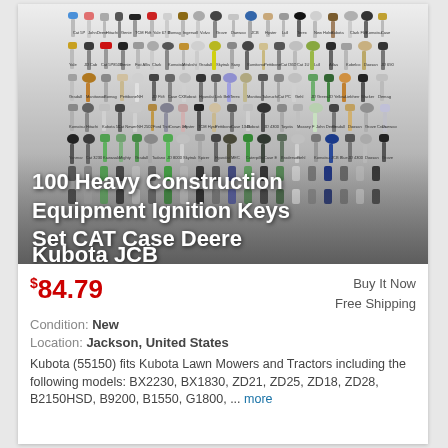[Figure (photo): Grid of approximately 100 different heavy construction equipment ignition keys of various shapes and colors arranged in rows, with text overlay at the bottom reading '100 Heavy Construction Equipment Ignition Keys Set CAT Case Deere Kubota JCB']
100 Heavy Construction Equipment Ignition Keys Set CAT Case Deere Kubota JCB
$84.79
Buy It Now
Free Shipping
Condition: New
Location: Jackson, United States
Kubota (55150) fits Kubota Lawn Mowers and Tractors including the following models: BX2230, BX1830, ZD21, ZD25, ZD18, ZD28, B2150HSD, B9200, B1550, G1800, ... more